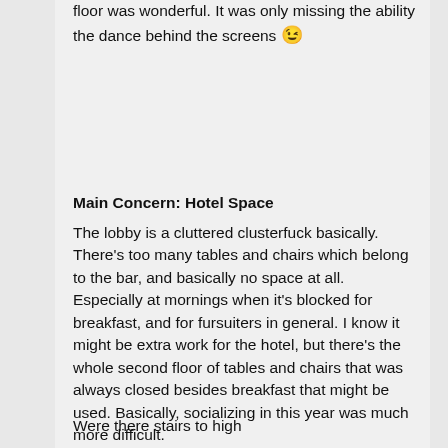floor was wonderful. It was only missing the ability the dance behind the screens 😉
Main Concern: Hotel Space
The lobby is a cluttered clusterfuck basically. There's too many tables and chairs which belong to the bar, and basically no space at all. Especially at mornings when it's blocked for breakfast, and for fursuiters in general. I know it might be extra work for the hotel, but there's the whole second floor of tables and chairs that was always closed besides breakfast that might be used. Basically, socializing in this year was much more difficult.
Were there stairs to high